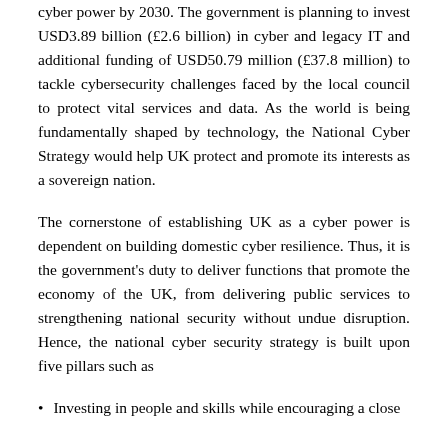cyber power by 2030. The government is planning to invest USD3.89 billion (£2.6 billion) in cyber and legacy IT and additional funding of USD50.79 million (£37.8 million) to tackle cybersecurity challenges faced by the local council to protect vital services and data. As the world is being fundamentally shaped by technology, the National Cyber Strategy would help UK protect and promote its interests as a sovereign nation.
The cornerstone of establishing UK as a cyber power is dependent on building domestic cyber resilience. Thus, it is the government's duty to deliver functions that promote the economy of the UK, from delivering public services to strengthening national security without undue disruption. Hence, the national cyber security strategy is built upon five pillars such as
Investing in people and skills while encouraging a close